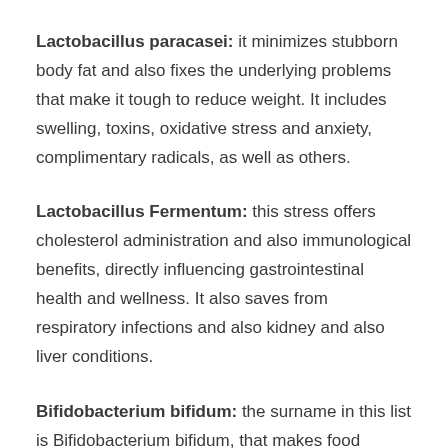Lactobacillus paracasei: it minimizes stubborn body fat and also fixes the underlying problems that make it tough to reduce weight. It includes swelling, toxins, oxidative stress and anxiety, complimentary radicals, as well as others.
Lactobacillus Fermentum: this stress offers cholesterol administration and also immunological benefits, directly influencing gastrointestinal health and wellness. It also saves from respiratory infections and also kidney and also liver conditions.
Bifidobacterium bifidum: the surname in this list is Bifidobacterium bifidum, that makes food digestion much better and much faster. It likewise controls the horrible bacteria in the gut and prevents usual digestive issues.
Inulin: This ingredient is prebiotic, which controls bowel movements as well as help in food digestion. Without inulin, issues